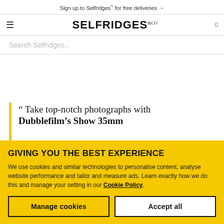Sign up to Selfridges+ for free deliveries →
[Figure (logo): Selfridges & Co logo with hamburger menu icon and cart count]
Search Selfridges...
“ Take top-notch photographs with Dubblefilm's Show 35mm
GIVING YOU THE BEST EXPERIENCE
We use cookies and similar technologies to personalise content, analyse website performance and tailor and measure ads. Learn exactly how we do this and manage your setting in our Cookie Policy.
Manage cookies
Accept all